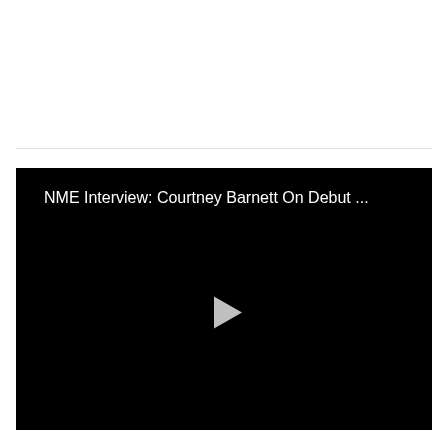[Figure (screenshot): A video player screenshot with black background showing the title 'NME Interview: Courtney Barnett On Debut ...' in white text at the top left, and a white play button triangle in the center of the frame.]